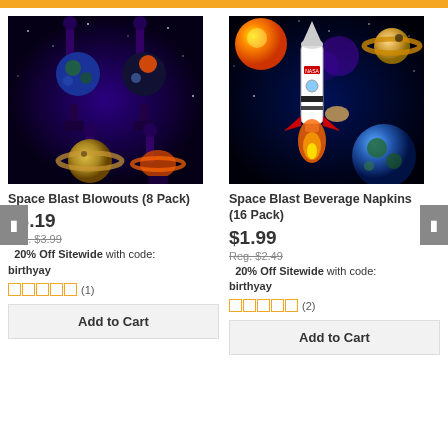[Figure (photo): Space blast blowouts party favors with planet designs]
Space Blast Blowouts (8 Pack)
$3.19
Reg. $3.99
20% Off Sitewide with code: birthyay
(1)
Add to Cart
[Figure (photo): Space blast beverage napkins with rocket and planets]
Space Blast Beverage Napkins (16 Pack)
$1.99
Reg. $2.49
20% Off Sitewide with code: birthyay
(2)
Add to Cart